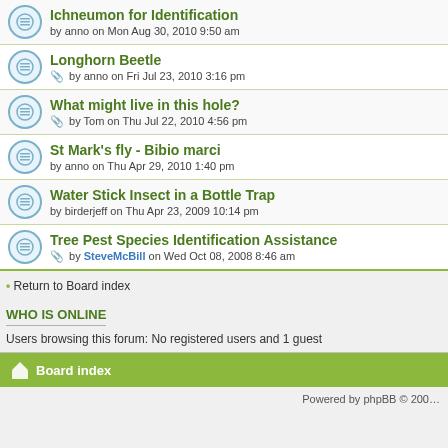Ichneumon for Identification — by anno on Mon Aug 30, 2010 9:50 am
Longhorn Beetle — by anno on Fri Jul 23, 2010 3:16 pm
What might live in this hole? — by Tom on Thu Jul 22, 2010 4:56 pm
St Mark's fly - Bibio marci — by anno on Thu Apr 29, 2010 1:40 pm
Water Stick Insect in a Bottle Trap — by birderjeff on Thu Apr 23, 2009 10:14 pm
Tree Pest Species Identification Assistance — by SteveMcBill on Wed Oct 08, 2008 8:46 am
Return to Board index
WHO IS ONLINE
Users browsing this forum: No registered users and 1 guest
Board index
Powered by phpBB © 200...